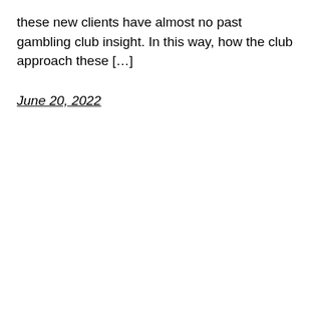these new clients have almost no past gambling club insight. In this way, how the club approach these […]
June 20, 2022